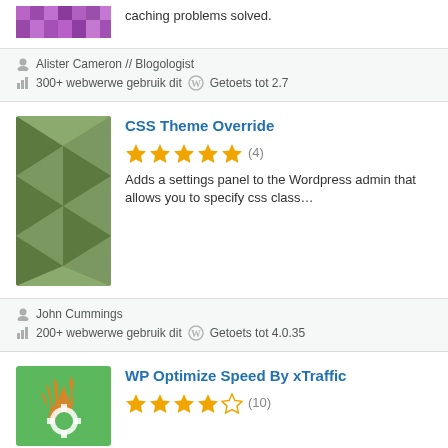caching problems solved.
Alister Cameron // Blogologist
300+ webwerwe gebruik dit   Getoets tot 2.7
CSS Theme Override
★★★★★ (4)
Adds a settings panel to the Wordpress admin that allows you to specify css class…
John Cummings
200+ webwerwe gebruik dit   Getoets tot 4.0.35
WP Optimize Speed By xTraffic
★★★★☆ (10)